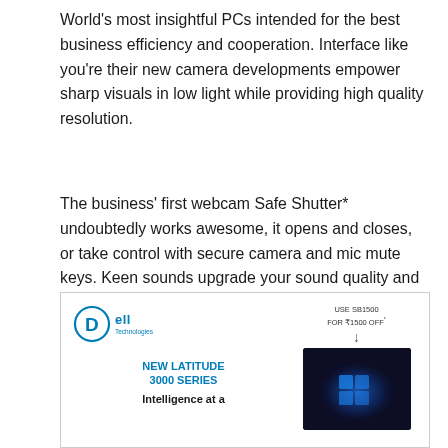World's most insightful PCs intended for the best business efficiency and cooperation. Interface like you're their new camera developments empower sharp visuals in low light while providing high quality resolution.
The business' first webcam Safe Shutter* undoubtedly works awesome, it opens and closes, or take control with secure camera and mic mute keys. Keen sounds upgrade your sound quality and decreases unnecessary commotions.
[Figure (illustration): Dell Technologies advertisement banner showing Dell logo, 'NEW LATITUDE 3000 SERIES' in blue, 'Intelligence at a' text, promo code 'USE SB1500 FOR ₹1500 OFF*', and a laptop image with blue Windows 11 screen.]